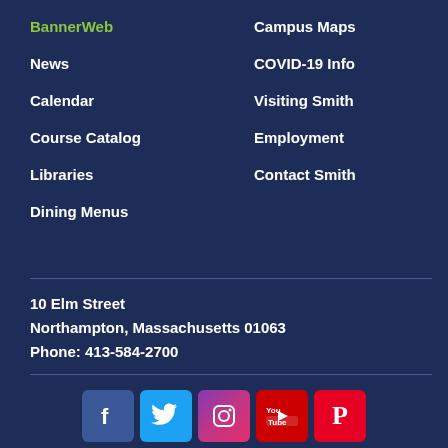BannerWeb
Campus Maps
News
COVID-19 Info
Calendar
Visiting Smith
Course Catalog
Employment
Libraries
Contact Smith
Dining Menus
10 Elm Street
Northampton, Massachusetts 01063
Phone: 413-584-2700
[Figure (infographic): Social media icons: Facebook, Twitter, Instagram, YouTube, Pinterest]